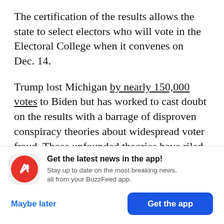The certification of the results allows the state to select electors who will vote in the Electoral College when it convenes on Dec. 14.
Trump lost Michigan by nearly 150,000 votes to Biden but has worked to cast doubt on the results with a barrage of disproven conspiracy theories about widespread voter fraud. Those unfounded theories have riled up his base and pushed Republican officials to question the results of the
[Figure (logo): BuzzFeed app notification banner with red circular logo containing a white upward arrow, headline 'Get the latest news in the app!', subtext 'Stay up to date on the most breaking news, all from your BuzzFeed app.', and two buttons: 'Maybe later' and 'Get the app']